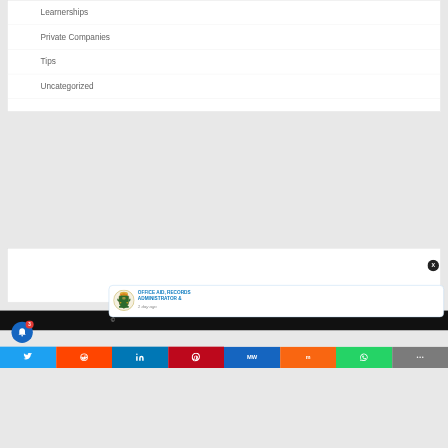Learnerships
Private Companies
Tips
Uncategorized
[Figure (other): South African government coat of arms logo in notification popup]
OFFICE AID, RECORDS ADMINISTRATOR &
1 day ago